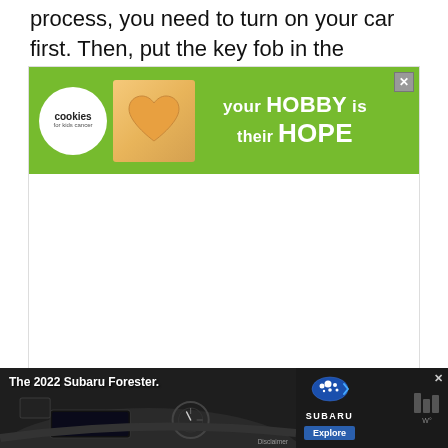process, you need to turn on your car first. Then, put the key fob in the ignition switch.
[Figure (other): Advertisement banner: 'your HOBBY is their HOPE' by Cookies for Kids' Cancer, green background with heart-shaped cookie image]
[Figure (other): Advertisement banner at bottom: 'The 2022 Subaru Forester.' showing car dashboard interior with Subaru logo and Explore button]